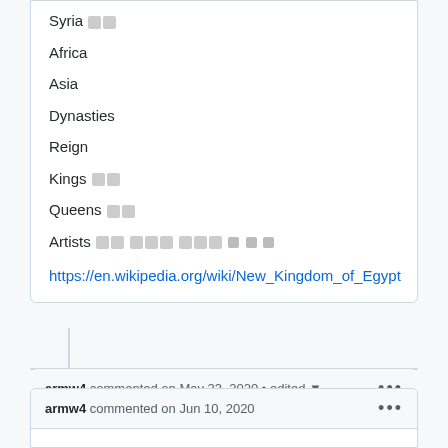Syria 🟦🟦
Africa
Asia
Dynasties
Reign
Kings 🟦🟦
Queens 🟦🟦
Artists 🟦🟦 🟦🟦🟦 🟦🟦🟦 🟦 🟦 🟦
https://en.wikipedia.org/wiki/New_Kingdom_of_Egypt
armw4 commented on May 23, 2020 • edited ▾ •••
🟦sir🟦s🟦s fu🟦
🟦 #ride 🟦
armw4 commented on Jun 10, 2020 •••